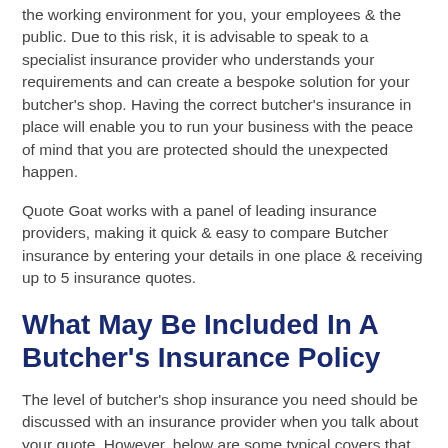the working environment for you, your employees & the public. Due to this risk, it is advisable to speak to a specialist insurance provider who understands your requirements and can create a bespoke solution for your butcher's shop. Having the correct butcher's insurance in place will enable you to run your business with the peace of mind that you are protected should the unexpected happen.
Quote Goat works with a panel of leading insurance providers, making it quick & easy to compare Butcher insurance by entering your details in one place & receiving up to 5 insurance quotes.
What May Be Included In A Butcher's Insurance Policy
The level of butcher's shop insurance you need should be discussed with an insurance provider when you talk about your quote. However, below are some typical covers that